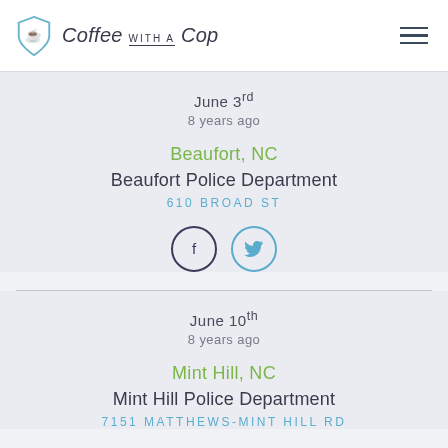Coffee with a Cop
June 3rd
8 years ago
Beaufort, NC
Beaufort Police Department
610 BROAD ST
June 10th
8 years ago
Mint Hill, NC
Mint Hill Police Department
7151 MATTHEWS-MINT HILL RD